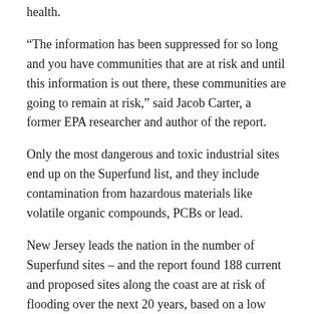health.
“The information has been suppressed for so long and you have communities that are at risk and until this information is out there, these communities are going to remain at risk,” said Jacob Carter, a former EPA researcher and author of the report.
Only the most dangerous and toxic industrial sites end up on the Superfund list, and they include contamination from hazardous materials like volatile organic compounds, PCBs or lead.
New Jersey leads the nation in the number of Superfund sites – and the report found 188 current and proposed sites along the coast are at risk of flooding over the next 20 years, based on a low rate of projected sea level rise. In Pennsylvania, 35 sites in the Delaware River watershed are at risk.
Carter began working at the EPA as a researcher during the Obama Administration, which issued an executive order in